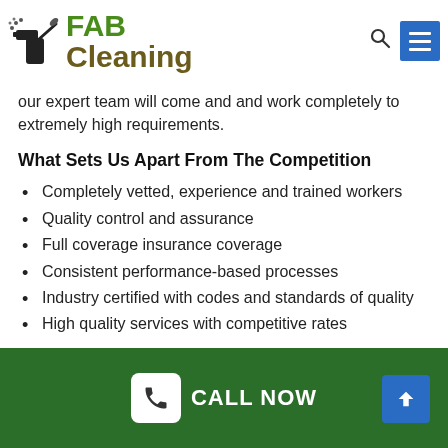[Figure (logo): FAB Cleaning logo with cleaning spray icon and green/brown text]
our expert team will come and and work completely to extremely high requirements.
What Sets Us Apart From The Competition
Completely vetted, experience and trained workers
Quality control and assurance
Full coverage insurance coverage
Consistent performance-based processes
Industry certified with codes and standards of quality
High quality services with competitive rates
CALL NOW